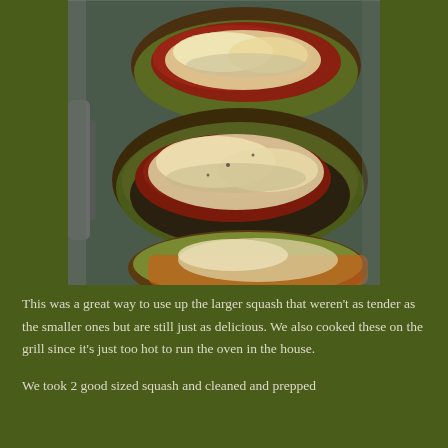[Figure (photo): Overhead view of stuffed squash halves topped with tomato sauce and melted cheese on a metal baking tray, cooked on a grill.]
This was a great way to use up the larger squash that weren't as tender as the smaller ones but are still just as delicious. We also cooked these on the grill since it's just too hot to run the oven in the house.
We took 2 good sized squash and cleaned and prepped